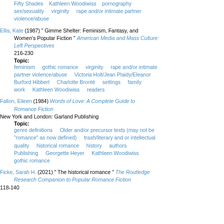Fifty Shades   Kathleen Woodiwiss   pornography   sex/sexuality   virginity   rape and/or intimate partner violence/abuse
Ellis, Kate (1987) " Gimme Shelter: Feminism, Fantasy, and Women's Popular Fiction " American Media and Mass Culture: Left Perspectives 216-230
Topic: feminism   gothic romance   virginity   rape and/or intimate partner violence/abuse   Victoria Holt/Jean Plaidy/Eleanor Burford Hibbert   Charlotte Brontë   settings   family   work   Kathleen Woodiwiss   readers
Fallon, Eileen (1984) Words of Love: A Complete Guide to Romance Fiction New York and London: Garland Publishing
Topic: genre definitions   Older and/or precursor texts (may not be "romance" as now defined)   trash/literary and or intellectual quality   historical romance   history   authors   Publishing   Georgette Heyer   Kathleen Woodiwiss   gothic romance
Ficke, Sarah H. (2021) " The historical romance " The Routledge Research Companion to Popular Romance Fiction 118-140